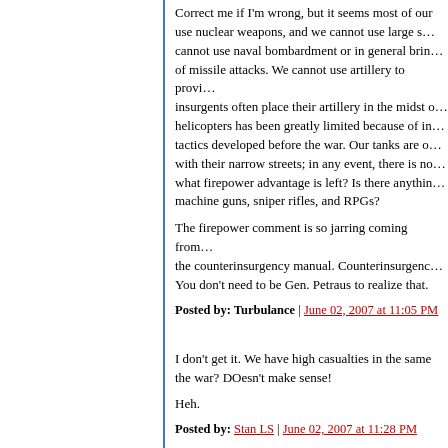Correct me if I'm wrong, but it seems most of our... use nuclear weapons, and we cannot use large s... cannot use naval bombardment or in general brin... of missile attacks. We cannot use artillery to provi... insurgents often place their artillery in the midst o... helicopters has been greatly limited because of in... tactics developed before the war. Our tanks are o... with their narrow streets; in any event, there is no... what firepower advantage is left? Is there anythin... machine guns, sniper rifles, and RPGs?
The firepower comment is so jarring coming from... the counterinsurgency manual. Counterinsurgenc... You don't need to be Gen. Petraus to realize that.
Posted by: Turbulance | June 02, 2007 at 11:05 PM
I don't get it. We have high casualties in the same the war? DOesn't make sense!
Heh.
Posted by: Stan LS | June 02, 2007 at 11:28 PM